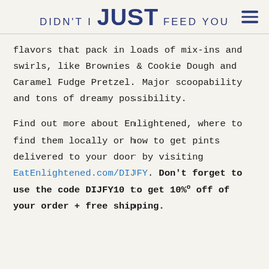DIDN'T I JUST FEED YOU
flavors that pack in loads of mix-ins and swirls, like Brownies & Cookie Dough and Caramel Fudge Pretzel. Major scoopability and tons of dreamy possibility.
Find out more about Enlightened, where to find them locally or how to get pints delivered to your door by visiting EatEnlightened.com/DIJFY. Don't forget to use the code DIJFY10 to get 10% off of your order + free shipping.